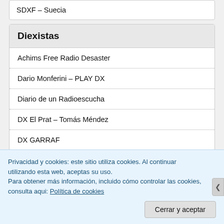SDXF – Suecia
Diexistas
Achims Free Radio Desaster
Dario Monferini – PLAY DX
Diario de un Radioescucha
DX El Prat – Tomás Méndez
DX GARRAF
DX Radio – Jöel Lintz
Privacidad y cookies: este sitio utiliza cookies. Al continuar utilizando esta web, aceptas su uso.
Para obtener más información, incluido cómo controlar las cookies, consulta aqui: Política de cookies
Cerrar y aceptar